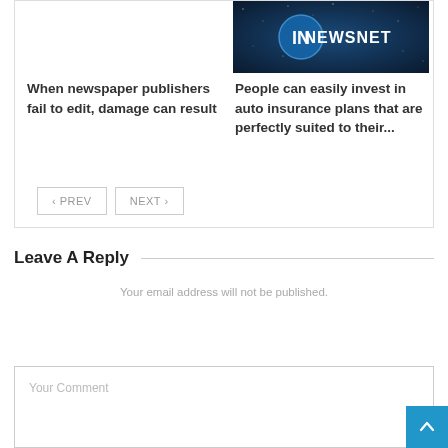[Figure (logo): NewsNet logo on dark blue starry background with 'IN NEWSNET' text]
When newspaper publishers fail to edit, damage can result
People can easily invest in auto insurance plans that are perfectly suited to their...
< PREV   NEXT >
Leave A Reply
Your email address will not be published.
Your Comment